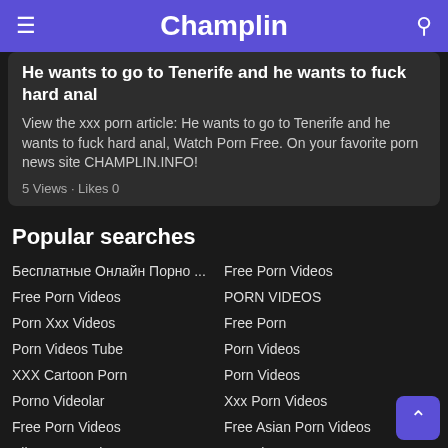Champlin
He wants to go to Tenerife and he wants to fuck hard anal
View the xxx porn article: He wants to go to Tenerife and he wants to fuck hard anal, Watch Porn Free. On your favorite porn news site CHAMPLIN.INFO!
5 Views · Likes 0
Popular searches
Бесплатные Онлайн Порно ...
Free Porn Videos
Free Porn Videos
PORN VIDEOS
Porn Xxx Videos
Free Porn
Porn Videos Tube
Porn Videos
XXX Cartoon Porn
Porn Videos
Porno Videolar
Xxx Porn Videos
Free Porn Videos
Free Asian Porn Videos
All Porno Movies
Hentai
Porn Videos
Xxx Porn Videos
Free Amateur Girlfriend Porn ...
Porn Videos
Free Porn Videos
Kostenloser Porno